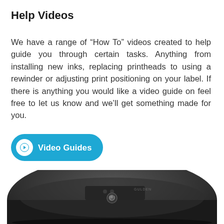Help Videos
We have a range of “How To” videos created to help guide you through certain tasks. Anything from installing new inks, replacing printheads to using a rewinder or adjusting print positioning on your label. If there is anything you would like a video guide on feel free to let us know and we’ll get something made for you.
[Figure (other): A blue pill-shaped button with a white circular arrow icon on the left and white bold text reading 'Video Guides']
[Figure (photo): Partial view of a black label printer device, showing the top surface with a power button and small indicator lights]